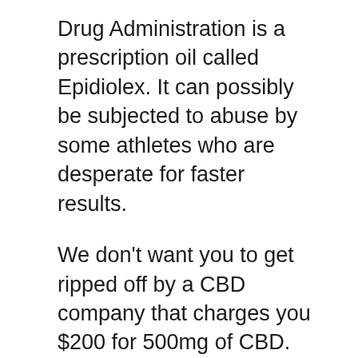Drug Administration is a prescription oil called Epidiolex. It can possibly be subjected to abuse by some athletes who are desperate for faster results.
We don't want you to get ripped off by a CBD company that charges you $200 for 500mg of CBD. CBD manufacturers are saving nearly US$30 a pound, however many have not passed on these savings to their customers. In the last year, the price of hemp has drastically decreased. There is no reason for the hemp in your CBD oil to originate from outside of the USA. Sticking with hemp, you need to make sure that hemp is farmed in the U.S.
Therefore, don't depend on your weight to